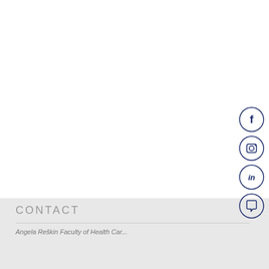[Figure (illustration): Four social media icons in dark navy blue circles arranged vertically on the right side: Facebook (f), Instagram (camera), LinkedIn (in), and a chat/comment bubble icon.]
CONTACT
Angela Reškin Faculty of Health Car...